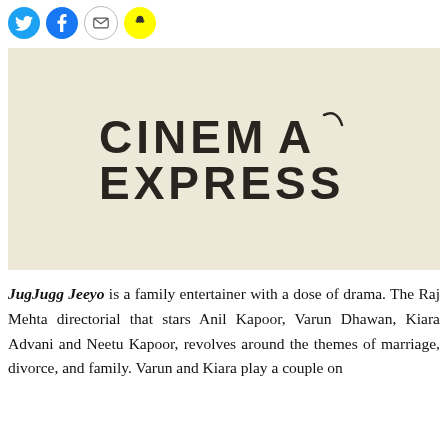[Figure (logo): Social media sharing icons row: Twitter (blue circle), Facebook (blue circle), Email (white circle with envelope), Snapchat (yellow circle with ghost)]
[Figure (logo): Cinema Express logo on a beige/cream background. Large bold text reading CINEMA EXPRESS in two lines.]
JugJugg Jeeyo is a family entertainer with a dose of drama. The Raj Mehta directorial that stars Anil Kapoor, Varun Dhawan, Kiara Advani and Neetu Kapoor, revolves around the themes of marriage, divorce, and family. Varun and Kiara play a couple on